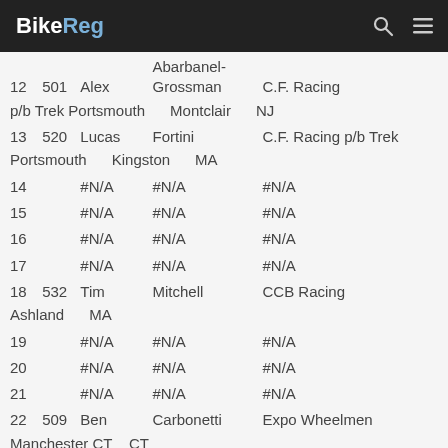BikeReg
| # | Bib | First | Last | Team | City | State |
| --- | --- | --- | --- | --- | --- | --- |
| 12 | 501 | Alex | Abarbanel-Grossman | C.F. Racing p/b Trek Portsmouth | Montclair | NJ |
| 13 | 520 | Lucas | Fortini | C.F. Racing p/b Trek Portsmouth | Kingston | MA |
| 14 | #N/A | #N/A | #N/A |  |  |  |
| 15 | #N/A | #N/A | #N/A |  |  |  |
| 16 | #N/A | #N/A | #N/A |  |  |  |
| 17 | #N/A | #N/A | #N/A |  |  |  |
| 18 | 532 | Tim | Mitchell | CCB Racing | Ashland | MA |
| 19 | #N/A | #N/A | #N/A |  |  |  |
| 20 | #N/A | #N/A | #N/A |  |  |  |
| 21 | #N/A | #N/A | #N/A |  |  |  |
| 22 | 509 | Ben | Carbonetti | Expo Wheelmen | Manchester CT | CT |
| 23 | 551 | A. Zane | Wenzel | Horst Engineering Cycling Team | Middletown | CT |
| 24 | #N/A | #N/A | #N/A |  |  |  |